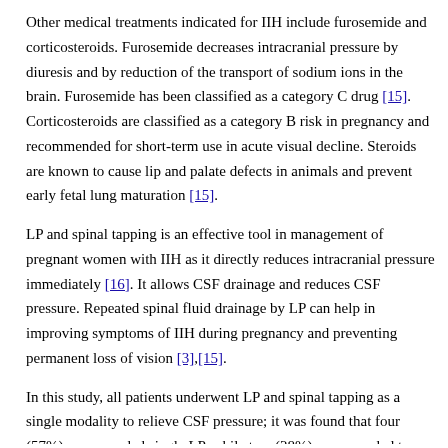Other medical treatments indicated for IIH include furosemide and corticosteroids. Furosemide decreases intracranial pressure by diuresis and by reduction of the transport of sodium ions in the brain. Furosemide has been classified as a category C drug [15]. Corticosteroids are classified as a category B risk in pregnancy and recommended for short-term use in acute visual decline. Steroids are known to cause lip and palate defects in animals and prevent early fetal lung maturation [15].
LP and spinal tapping is an effective tool in management of pregnant women with IIH as it directly reduces intracranial pressure immediately [16]. It allows CSF drainage and reduces CSF pressure. Repeated spinal fluid drainage by LP can help in improving symptoms of IIH during pregnancy and preventing permanent loss of vision [3],[15].
In this study, all patients underwent LP and spinal tapping as a single modality to relieve CSF pressure; it was found that four (57%) cases needed single LP, while two (28%) cases needed two LP sessions to relieve their symptoms. Moreover, these six (85%) patients showed clinical improvement on ophthalmological examination as the papilledema improved and optic disc borders became more distinct. Five out of the patients of the group who underwent one of the